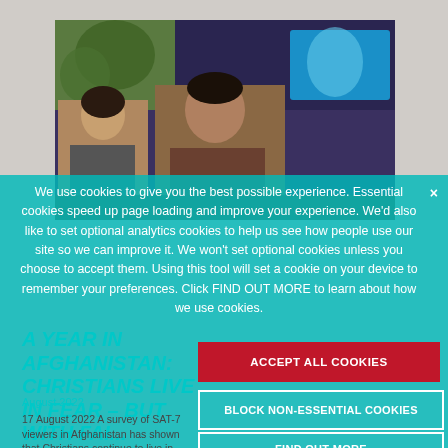[Figure (screenshot): TV broadcast screenshot showing two news anchors at a desk with a blue studio background and logo screen]
We use cookies to give you the best possible experience. Essential cookies speed up page loading and improve your experience. We'd also like to set optional analytics cookies to help us see how people use our site so we can improve it. We won't set optional cookies unless you choose to accept them. Using this tool will set a cookie on your device to remember your preferences. Click FIND OUT MORE to learn about how we use cookies.
ACCEPT ALL COOKIES
BLOCK NON-ESSENTIAL COOKIES
FIND OUT MORE
A YEAR IN AFGHANISTAN: CHRISTIANS LIVE IN FEAR – BUT WITH FAI...
August 2022
17 August 2022 A survey of SAT-7 viewers in Afghanistan has shown that Christians continue to live in fear one year